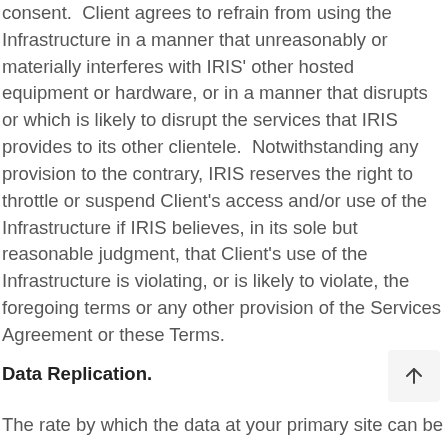consent.  Client agrees to refrain from using the Infrastructure in a manner that unreasonably or materially interferes with IRIS' other hosted equipment or hardware, or in a manner that disrupts or which is likely to disrupt the services that IRIS provides to its other clientele.  Notwithstanding any provision to the contrary, IRIS reserves the right to throttle or suspend Client's access and/or use of the Infrastructure if IRIS believes, in its sole but reasonable judgment, that Client's use of the Infrastructure is violating, or is likely to violate, the foregoing terms or any other provision of the Services Agreement or these Terms.
Data Replication.
The rate by which the data at your primary site can be